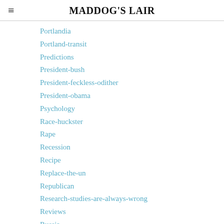MADDOG'S LAIR
Portlandia
Portland-transit
Predictions
President-bush
President-feckless-odither
President-obama
Psychology
Race-huckster
Rape
Recession
Recipe
Replace-the-un
Republican
Research-studies-are-always-wrong
Reviews
Russia
Salafism
Sanctions
Science